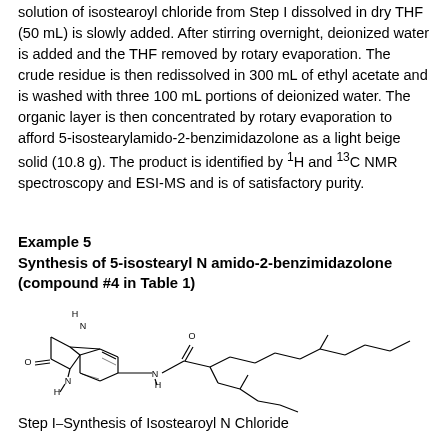solution of isostearoyl chloride from Step I dissolved in dry THF (50 mL) is slowly added. After stirring overnight, deionized water is added and the THF removed by rotary evaporation. The crude residue is then redissolved in 300 mL of ethyl acetate and is washed with three 100 mL portions of deionized water. The organic layer is then concentrated by rotary evaporation to afford 5-isostearylamido-2-benzimidazolone as a light beige solid (10.8 g). The product is identified by 1H and 13C NMR spectroscopy and ESI-MS and is of satisfactory purity.
Example 5
Synthesis of 5-isostearyl N amido-2-benzimidazolone (compound #4 in Table 1)
[Figure (illustration): Chemical structure of 5-isostearyl N amido-2-benzimidazolone: benzimidazolone ring with NH groups, carbonyl group, and a branched isostearyl chain attached via an amide linkage.]
Step I–Synthesis of Isostearoyl N Chloride